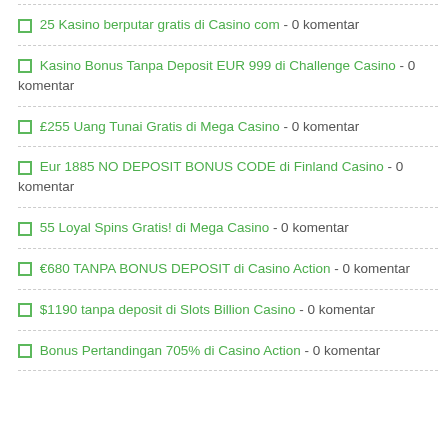25 Kasino berputar gratis di Casino com - 0 komentar
Kasino Bonus Tanpa Deposit EUR 999 di Challenge Casino - 0 komentar
£255 Uang Tunai Gratis di Mega Casino - 0 komentar
Eur 1885 NO DEPOSIT BONUS CODE di Finland Casino - 0 komentar
55 Loyal Spins Gratis! di Mega Casino - 0 komentar
€680 TANPA BONUS DEPOSIT di Casino Action - 0 komentar
$1190 tanpa deposit di Slots Billion Casino - 0 komentar
Bonus Pertandingan 705% di Casino Action - 0 komentar